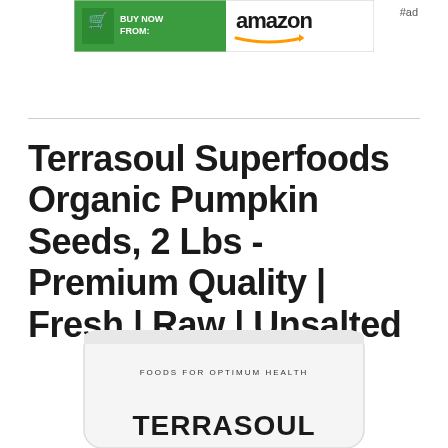[Figure (screenshot): Amazon 'Buy Now From' banner advertisement showing Amazon logo with orange smile arrow on green background with shopping cart icon]
#ad
Terrasoul Superfoods Organic Pumpkin Seeds, 2 Lbs - Premium Quality | Fresh | Raw | Unsalted
[Figure (photo): White resealable bag of Terrasoul Superfoods product. Text on bag reads 'FOODS FOR OPTIMUM HEALTH' and 'TERRASOUL' visible at bottom.]